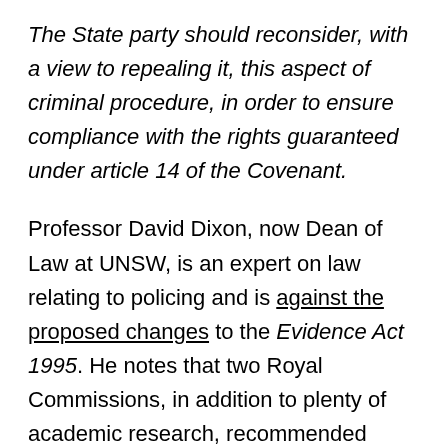The State party should reconsider, with a view to repealing it, this aspect of criminal procedure, in order to ensure compliance with the rights guaranteed under article 14 of the Covenant.
Professor David Dixon, now Dean of Law at UNSW, is an expert on law relating to policing and is against the proposed changes to the Evidence Act 1995. He notes that two Royal Commissions, in addition to plenty of academic research, recommended against the UK's 1994 changes. The NSW Law Reform Commission published a comprehensive report on the right to silence in 2000 which supported his stance and specifically recommended against going down the same path as the UK. It noted there are already sensible